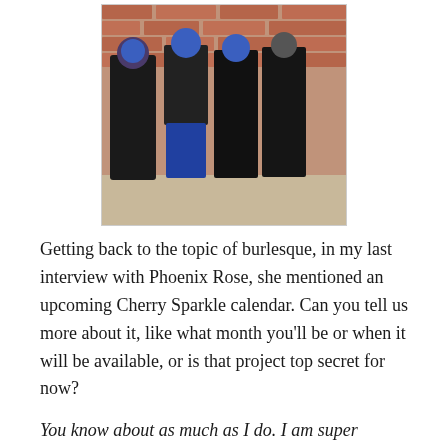[Figure (photo): Four people in Halloween or costume makeup with blue face paint, wearing dark clothing, standing in front of a brick wall outdoors.]
Getting back to the topic of burlesque, in my last interview with Phoenix Rose, she mentioned an upcoming Cherry Sparkle calendar. Can you tell us more about it, like what month you'll be or when it will be available, or is that project top secret for now?
You know about as much as I do. I am super excited to find out what month I will be featured as. I can tell you that from the pictures I have seen, this calendar is absolutely